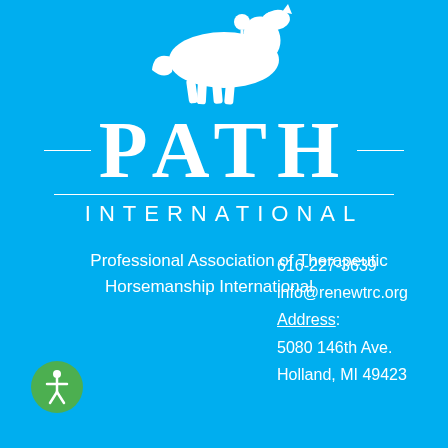[Figure (logo): PATH International logo with white horse silhouette above horizontal lines and the text PATH INTERNATIONAL on a cyan/blue background]
Professional Association of Therapeutic Horsemanship International
616-227-3639
info@renewtrc.org
Address:
5080 146th Ave.
Holland, MI 49423
[Figure (illustration): Accessibility icon — circular green badge with white stick figure person]